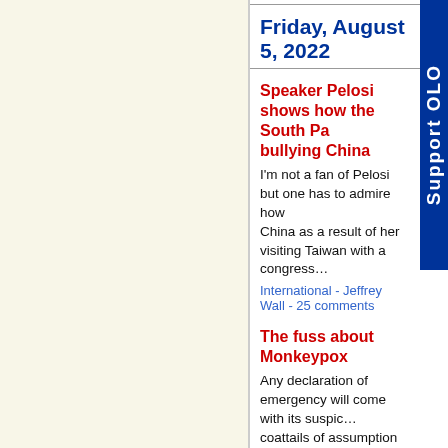Friday, August 5, 2022
Speaker Pelosi shows how the South Pa... bullying China
I'm not a fan of Pelosi but one has to admire how... China as a result of her visiting Taiwan with a congress...
International - Jeffrey Wall - 25 comments
The fuss about Monkeypox
Any declaration of emergency will come with its suspic... coattails of assumption and concern.
Health - Binoy Kampmark - 12 comments
Inhumane and unsustainable EU policies on I...
Macedonia is set up to become re-occupied by Bulgari... Coalition of Social Democrats and Albanian neo fascis...
International - Ordan Andreevski - 5 comments
Thursday, August 4, 2022
One million more cars
We are assured that public transport – usually in the fo... congestion problem. If you believe that, please share...